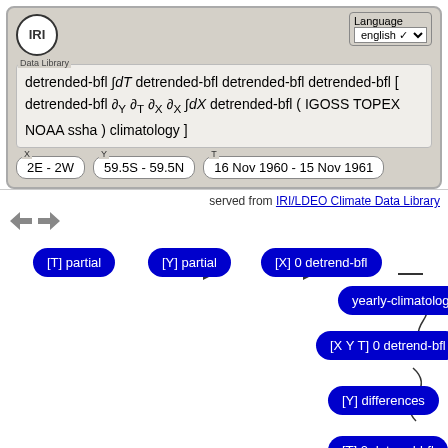[Figure (screenshot): IRI Data Library interface showing a mathematical expression with partial derivatives and integrals, coordinate range selectors (X: 2E-2W, Y: 59.5S-59.5N, T: 16 Nov 1960 - 15 Nov 1961), and a flowchart of data processing steps including [T] partial, [Y] partial, [X] 0 detrend-bfl, yearly-climatology, [X Y T] 0 detrend-bfl, [Y] differences, [T] 0 detrend-bfl, [X Y T] 0 detrend-bfl nodes.]
served from IRI/LDEO Climate Data Library
[Figure (flowchart): Flowchart showing data processing pipeline: [T] partial -> [Y] partial -> [X] 0 detrend-bfl -> yearly-climatology, then branching down through [X Y T] 0 detrend-bfl, [Y] differences, [T] 0 detrend-bfl, [X Y T] 0 detrend-bfl]